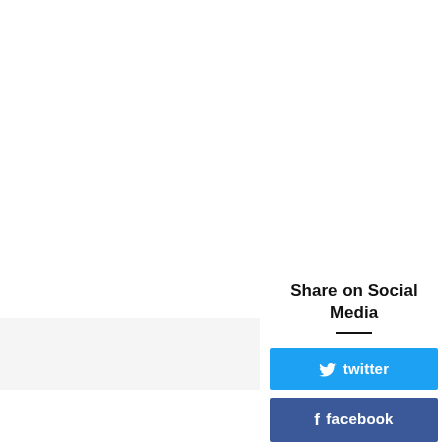Share on Social Media
twitter
facebook
email